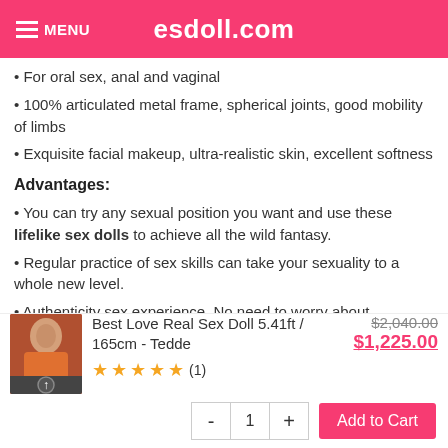esdoll.com
For oral sex, anal and vaginal
100% articulated metal frame, spherical joints, good mobility of limbs
Exquisite facial makeup, ultra-realistic skin, excellent softness
Advantages:
You can try any sexual position you want and use these lifelike sex dolls to achieve all the wild fantasy.
Regular practice of sex skills can take your sexuality to a whole new level.
Authenticity sex experience. No need to worry about pregnancy,
Best Love Real Sex Doll 5.41ft / 165cm - Tedde
★★★★★ (1)
$2,040.00  $1,225.00
- 1 + Add to Cart